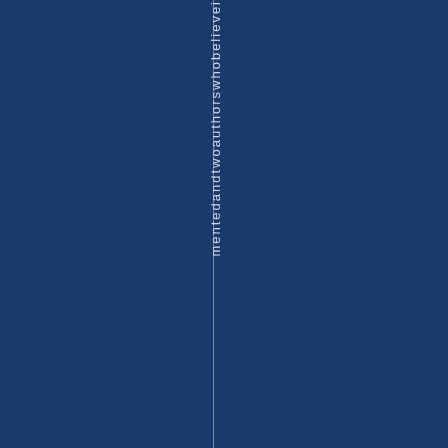mentedandtwoauthorswhobelievei